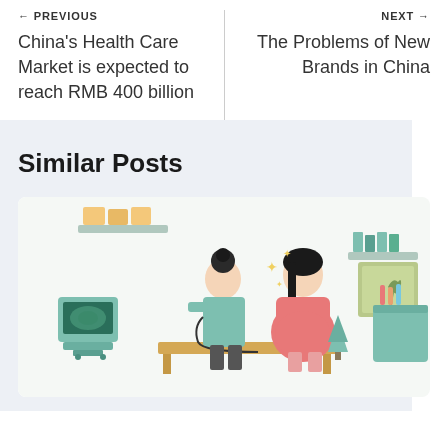← PREVIOUS
China's Health Care Market is expected to reach RMB 400 billion
NEXT →
The Problems of New Brands in China
Similar Posts
[Figure (illustration): Flat-style illustration of a doctor (in a teal coat) using a stethoscope on a pregnant woman in a pink dress seated on an examination table. Medical equipment including an ultrasound machine on the left and shelves with supplies in the background.]